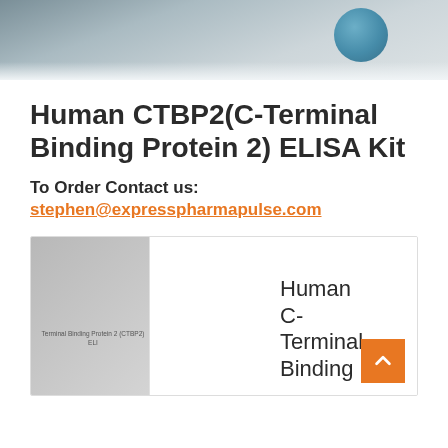[Figure (photo): Laboratory photo banner showing scientific equipment/glassware at top of page]
Human CTBP2(C-Terminal Binding Protein 2) ELISA Kit
To Order Contact us:
stephen@expresspharmapulse.com
[Figure (photo): Product thumbnail image for C-Terminal Binding Protein 2 (CTBP2) ELISA Kit with text label]
Human C-Terminal Binding